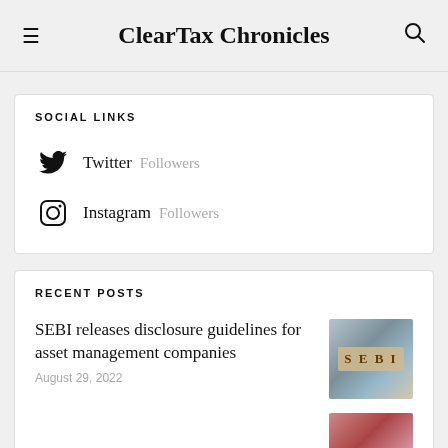ClearTax Chronicles
SOCIAL LINKS
Twitter  Followers
Instagram  Followers
RECENT POSTS
SEBI releases disclosure guidelines for asset management companies
August 29, 2022